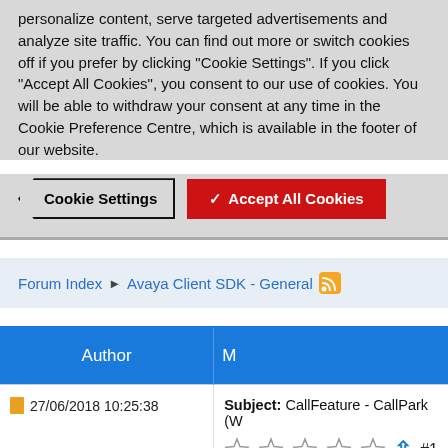personalize content, serve targeted advertisements and analyze site traffic. You can find out more or switch cookies off if you prefer by clicking "Cookie Settings". If you click "Accept All Cookies", you consent to our use of cookies. You will be able to withdraw your consent at any time in the Cookie Preference Centre, which is available in the footer of our website.
[Figure (screenshot): Cookie Settings button and Accept All Cookies button]
Forum Index ▶ Avaya Client SDK - General
| Author | M |
| --- | --- |
| 27/06/2018 10:25:38 | Subject: CallFeature - CallPark (W
☆☆☆☆☆ ↑ #1 |